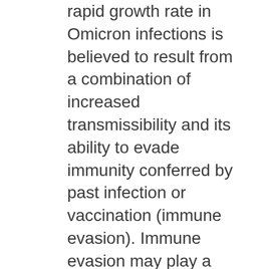rapid growth rate in Omicron infections is believed to result from a combination of increased transmissibility and its ability to evade immunity conferred by past infection or vaccination (immune evasion). Immune evasion may play a larger role than increased transmissibility; immunity